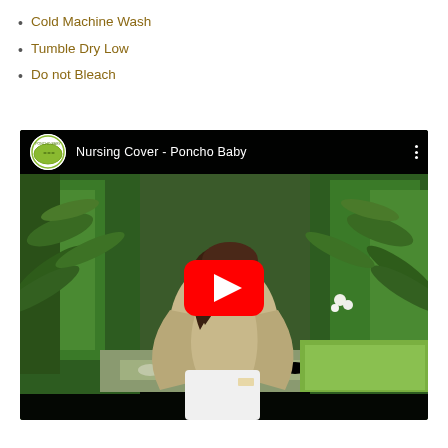Cold Machine Wash
Tumble Dry Low
Do not Bleach
[Figure (screenshot): YouTube video thumbnail showing a woman wearing a nursing cover (poncho) in a garden setting. Video title reads 'Nursing Cover - Poncho Baby'. A large red YouTube play button is centered on the image.]